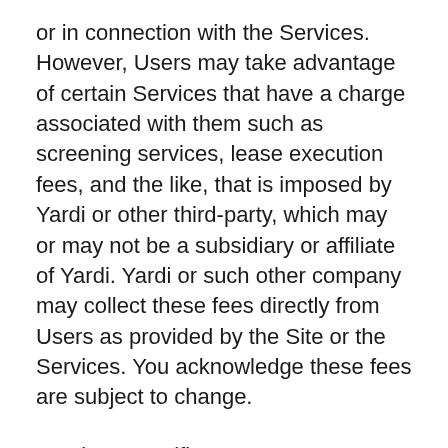or in connection with the Services. However, Users may take advantage of certain Services that have a charge associated with them such as screening services, lease execution fees, and the like, that is imposed by Yardi or other third-party, which may or may not be a subsidiary or affiliate of Yardi. Yardi or such other company may collect these fees directly from Users as provided by the Site or the Services. You acknowledge these fees are subject to change.
Services-specific terms may set out further terms applying to such payments (including in relation to refunds (if any), billing arrangements and any consequences of failing to make timely payments). Application fees are non-refundable, even if an application is denied, except to the extent otherwise required by applicable law. You must